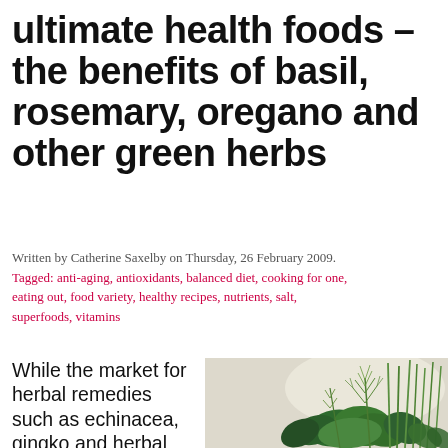ultimate health foods – the benefits of basil, rosemary, oregano and other green herbs
Written by Catherine Saxelby on Thursday, 26 February 2009. Tagged: anti-aging, antioxidants, balanced diet, cooking for one, eating out, food variety, healthy recipes, nutrients, salt, superfoods, vitamins
While the market for herbal remedies such as echinacea, gingko and herbal teas is
[Figure (photo): A bunch of fresh green herbs including chives, dill, and basil leaves arranged together against a light background]